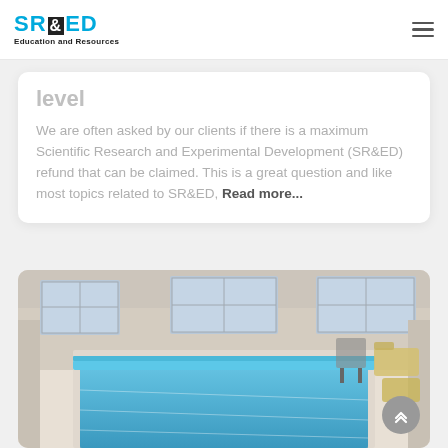SR&ED Education and Resources
level
We are often asked by our clients if there is a maximum Scientific Research and Experimental Development (SR&ED) refund that can be claimed. This is a great question and like most topics related to SR&ED, Read more...
[Figure (photo): Interior photo of an indoor swimming pool with large windows, blue water, and lounge chairs in a light-colored room]